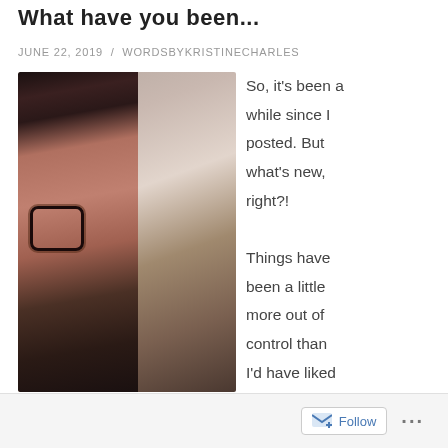What have you been...
JUNE 22, 2019  /  WORDSBYKRISTINECHARLES
[Figure (photo): Selfie of two women together — a younger woman with dark hair and large round glasses on the left, and an elderly woman on the right. Both facing the camera.]
So, it's been a while since I posted. But what's new, right?!

Things have been a little more out of control than I'd have liked this year as my Dad (that's